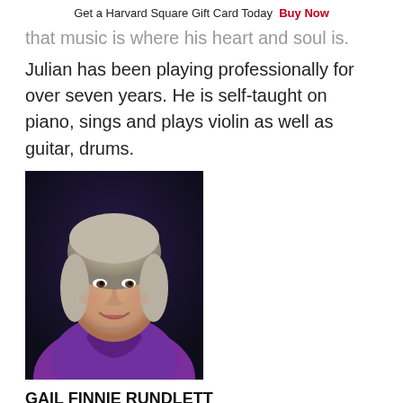Get a Harvard Square Gift Card Today  Buy Now
that music is where his heart and soul is.
Julian has been playing professionally for over seven years. He is self-taught on piano, sings and plays violin as well as guitar, drums.
[Figure (photo): Portrait photo of Gail Finnie Rundlett, a woman with short gray-blonde hair wearing a purple blouse and necklace, smiling, against a dark background.]
GAIL FINNIE RUNDLETT